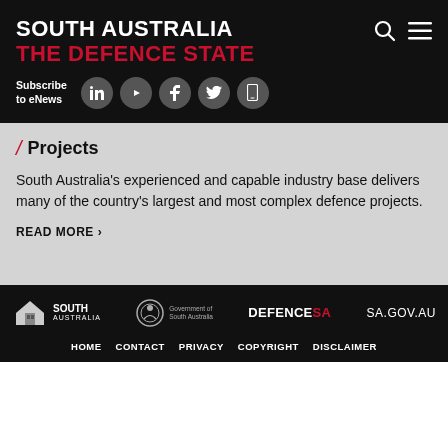SOUTH AUSTRALIA THE DEFENCE STATE
Subscribe to eNews
Projects
South Australia's experienced and capable industry base delivers many of the country's largest and most complex defence projects.
READ MORE >
HOME  CONTACT  PRIVACY  COPYRIGHT  DISCLAIMER